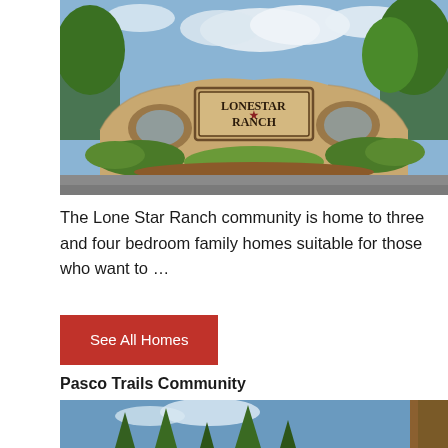[Figure (photo): Entrance sign for Lone Star Ranch community — stone monument with 'LONE STAR RANCH' text surrounded by green landscaping and trees under a partly cloudy sky.]
The Lone Star Ranch community is home to three and four bedroom family homes suitable for those who want to …
See All Homes
Pasco Trails Community
[Figure (photo): Bottom portion of a photo showing tall pine trees against a blue sky, appears to be the entrance area of Pasco Trails Community.]